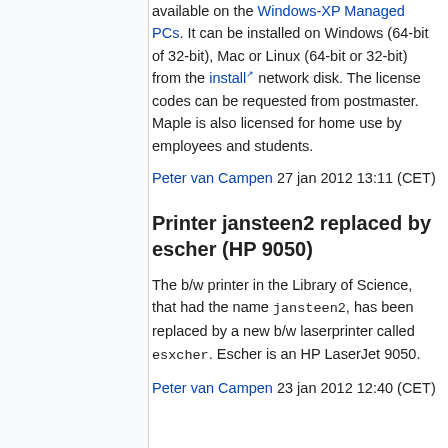available on the Windows-XP Managed PCs. It can be installed on Windows (64-bit of 32-bit), Mac or Linux (64-bit or 32-bit) from the install network disk. The license codes can be requested from postmaster. Maple is also licensed for home use by employees and students.
Peter van Campen 27 jan 2012 13:11 (CET)
Printer jansteen2 replaced by escher (HP 9050)
The b/w printer in the Library of Science, that had the name jansteen2, has been replaced by a new b/w laserprinter called esxcher. Escher is an HP LaserJet 9050.
Peter van Campen 23 jan 2012 12:40 (CET)